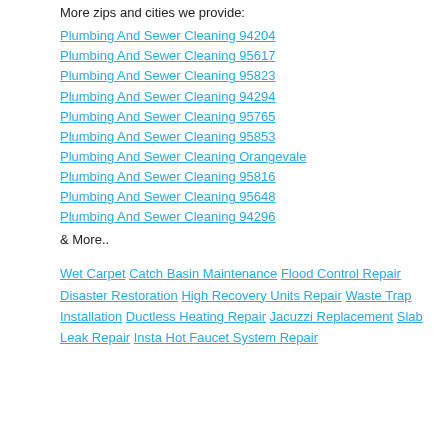More zips and cities we provide:
Plumbing And Sewer Cleaning 94204
Plumbing And Sewer Cleaning 95617
Plumbing And Sewer Cleaning 95823
Plumbing And Sewer Cleaning 94294
Plumbing And Sewer Cleaning 95765
Plumbing And Sewer Cleaning 95853
Plumbing And Sewer Cleaning Orangevale
Plumbing And Sewer Cleaning 95816
Plumbing And Sewer Cleaning 95648
Plumbing And Sewer Cleaning 94296
& More..
Wet Carpet Catch Basin Maintenance Flood Control Repair Disaster Restoration High Recovery Units Repair Waste Trap Installation Ductless Heating Repair Jacuzzi Replacement Slab Leak Repair Insta Hot Faucet System Repair